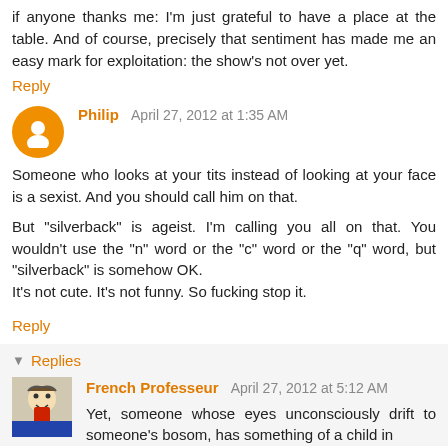if anyone thanks me: I'm just grateful to have a place at the table. And of course, precisely that sentiment has made me an easy mark for exploitation: the show's not over yet.
Reply
Philip  April 27, 2012 at 1:35 AM
Someone who looks at your tits instead of looking at your face is a sexist. And you should call him on that.

But "silverback" is ageist. I'm calling you all on that. You wouldn't use the "n" word or the "c" word or the "q" word, but "silverback" is somehow OK.
It's not cute. It's not funny. So fucking stop it.
Reply
▼  Replies
French Professeur  April 27, 2012 at 5:12 AM
Yet, someone whose eyes unconsciously drift to someone's bosom, has something of a child in